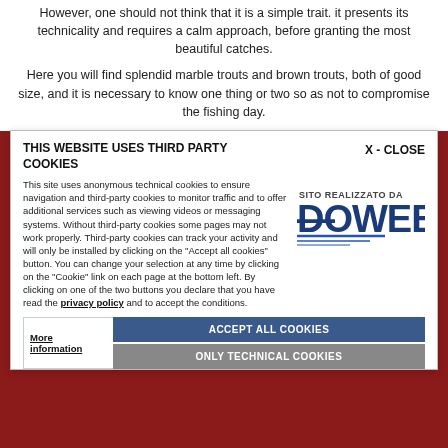However, one should not think that it is a simple trait. it presents its technicality and requires a calm approach, before granting the most beautiful catches.

Here you will find splendid marble trouts and brown trouts, both of good size, and it is necessary to know one thing or two so as not to compromise the fishing day.
THIS WEBSITE USES THIRD PARTY COOKIES
X - CLOSE
This site uses anonymous technical cookies to ensure navigation and third-party cookies to monitor traffic and to offer additional services such as viewing videos or messaging systems. Without third-party cookies some pages may not work properly. Third-party cookies can track your activity and will only be installed by clicking on the "Accept all cookies" button. You can change your selection at any time by clicking on the "Cookie" link on each page at the bottom left. By clicking on one of the two buttons you declare that you have read the privacy policy and to accept the conditions.
More information | ACCEPT ALL COOKIES | ONLY TECHNICAL COOKIES